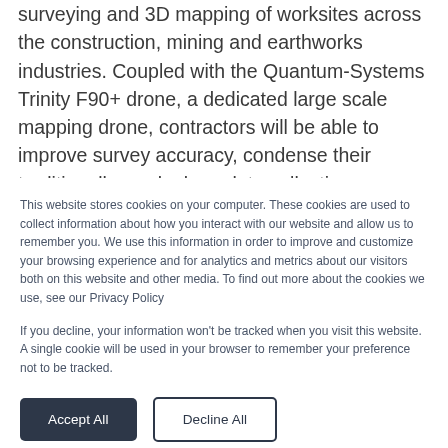surveying and 3D mapping of worksites across the construction, mining and earthworks industries. Coupled with the Quantum-Systems Trinity F90+ drone, a dedicated large scale mapping drone, contractors will be able to improve survey accuracy, condense their traditionally weeks-long data collection
This website stores cookies on your computer. These cookies are used to collect information about how you interact with our website and allow us to remember you. We use this information in order to improve and customize your browsing experience and for analytics and metrics about our visitors both on this website and other media. To find out more about the cookies we use, see our Privacy Policy
If you decline, your information won't be tracked when you visit this website. A single cookie will be used in your browser to remember your preference not to be tracked.
Accept All
Decline All